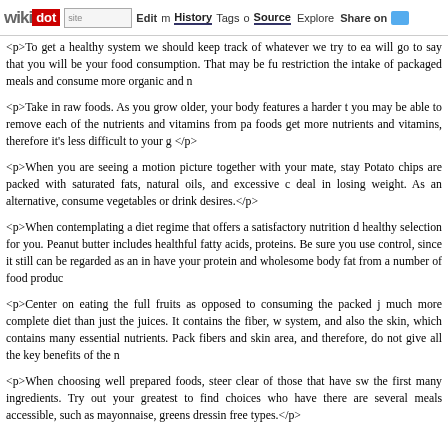wikidot | site | Edit | History | Tags | Source | Explore | Share on [Twitter]
<p>To get a healthy system we should keep track of whatever we try to eat will go to say that you will be your food consumption. That may be fu restriction the intake of packaged meals and consume more organic and n
<p>Take in raw foods. As you grow older, your body features a harder t you may be able to remove each of the nutrients and vitamins from pa foods get more nutrients and vitamins, therefore it's less difficult to your g </p>
<p>When you are seeing a motion picture together with your mate, stay Potato chips are packed with saturated fats, natural oils, and excessive c deal in losing weight. As an alternative, consume vegetables or drink desires.</p>
<p>When contemplating a diet regime that offers a satisfactory nutrition d healthy selection for you. Peanut butter includes healthful fatty acids, proteins. Be sure you use control, since it still can be regarded as an in have your protein and wholesome body fat from a number of food produc
<p>Center on eating the full fruits as opposed to consuming the packed j much more complete diet than just the juices. It contains the fiber, w system, and also the skin, which contains many essential nutrients. Pack fibers and skin area, and therefore, do not give all the key benefits of the n
<p>When choosing well prepared foods, steer clear of those that have sw the first many ingredients. Try out your greatest to find choices who have there are several meals accessible, such as mayonnaise, greens dressin free types.</p>